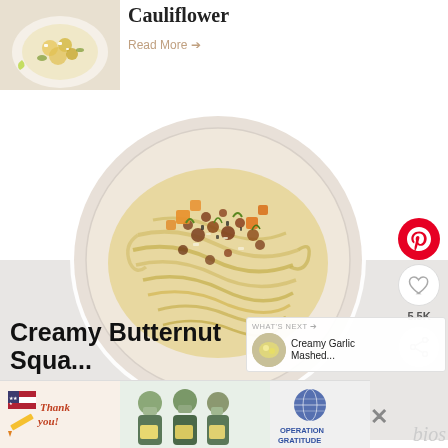[Figure (photo): Small food photo top-left, appears to show a plate with cauliflower dish]
Cauliflower
Read More →
[Figure (photo): Large circular plate of creamy butternut squash pasta with toppings, viewed from above]
5.5K
WHAT'S NEXT → Creamy Garlic Mashed...
Creamy Butternut Squa...
[Figure (photo): Advertisement banner: Thank you Operation Gratitude with people holding boxes]